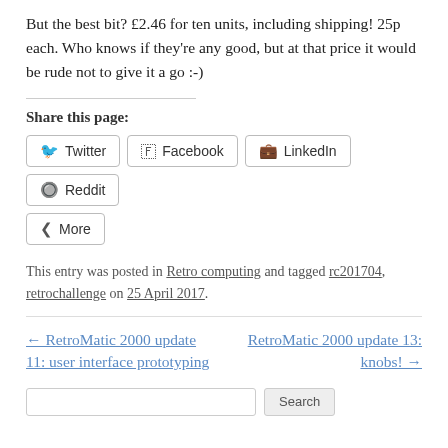But the best bit?  £2.46 for ten units, including shipping!  25p each.  Who knows if they're any good, but at that price it would be rude not to give it a go :-)
Share this page:
[Figure (other): Social share buttons: Twitter, Facebook, LinkedIn, Reddit, More]
This entry was posted in Retro computing and tagged rc201704, retrochallenge on 25 April 2017.
← RetroMatic 2000 update 11: user interface prototyping     RetroMatic 2000 update 13: knobs! →
[Figure (other): Search input field with Search button]